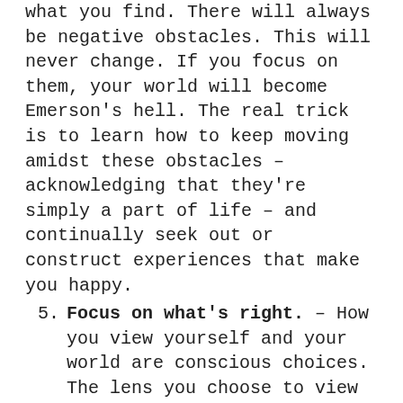what you find.  There will always be negative obstacles.  This will never change.  If you focus on them, your world will become Emerson's hell.  The real trick is to learn how to keep moving amidst these obstacles – acknowledging that they're simply a part of life – and continually seek out or construct experiences that make you happy.
5. Focus on what's right. – How you view yourself and your world are conscious choices.  The lens you choose to view everything through determines how you feel about yourself and the world around you.  Everything that happens in life is neither good nor bad.  It just depends on your perspective.  And no